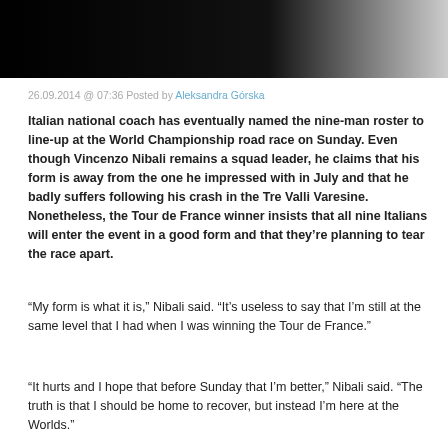[Figure (photo): Dark banner header image, black gradient fading to lighter tones on the right]
26.09.2014 @ 07:36 Posted by Aleksandra Górska
Italian national coach has eventually named the nine-man roster to line-up at the World Championship road race on Sunday. Even though Vincenzo Nibali remains a squad leader, he claims that his form is away from the one he impressed with in July and that he badly suffers following his crash in the Tre Valli Varesine. Nonetheless, the Tour de France winner insists that all nine Italians will enter the event in a good form and that they're planning to tear the race apart.
“My form is what it is,” Nibali said. “It’s useless to say that I’m still at the same level that I had when I was winning the Tour de France.”
“It hurts and I hope that before Sunday that I’m better,” Nibali said. “The truth is that I should be home to recover, but instead I’m here at the Worlds.”